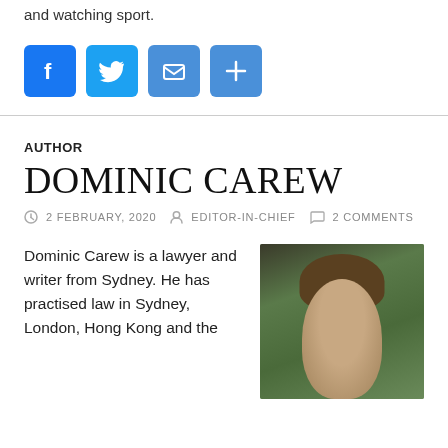and watching sport.
[Figure (infographic): Four social media sharing icons: Facebook (blue), Twitter (blue), Email/Mail (blue), Share/Plus (blue)]
AUTHOR
DOMINIC CAREW
2 FEBRUARY, 2020  EDITOR-IN-CHIEF  2 COMMENTS
Dominic Carew is a lawyer and writer from Sydney. He has practised law in Sydney, London, Hong Kong and the
[Figure (photo): Portrait photo of Dominic Carew, a man with curly/wavy hair, photographed indoors against a green background]